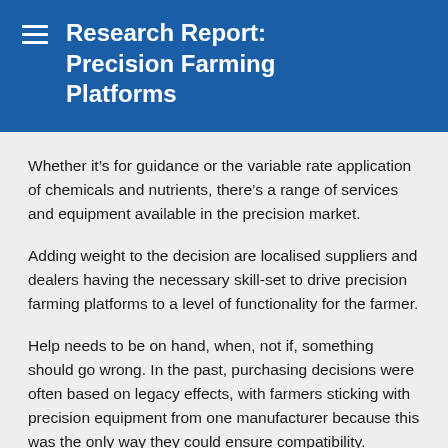Research Report: Precision Farming Platforms
Whether it’s for guidance or the variable rate application of chemicals and nutrients, there’s a range of services and equipment available in the precision market.
Adding weight to the decision are localised suppliers and dealers having the necessary skill-set to drive precision farming platforms to a level of functionality for the farmer.
Help needs to be on hand, when, not if, something should go wrong. In the past, purchasing decisions were often based on legacy effects, with farmers sticking with precision equipment from one manufacturer because this was the only way they could ensure compatibility.
Now, with increasing compatibility between the latest